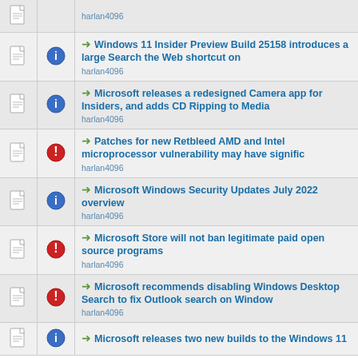harlan4096
Windows 11 Insider Preview Build 25158 introduces a large Search the Web shortcut on
harlan4096
Microsoft releases a redesigned Camera app for Insiders, and adds CD Ripping to Media
harlan4096
Patches for new Retbleed AMD and Intel microprocessor vulnerability may have signific
harlan4096
Microsoft Windows Security Updates July 2022 overview
harlan4096
Microsoft Store will not ban legitimate paid open source programs
harlan4096
Microsoft recommends disabling Windows Desktop Search to fix Outlook search on Window
harlan4096
Microsoft releases two new builds to the Windows 11